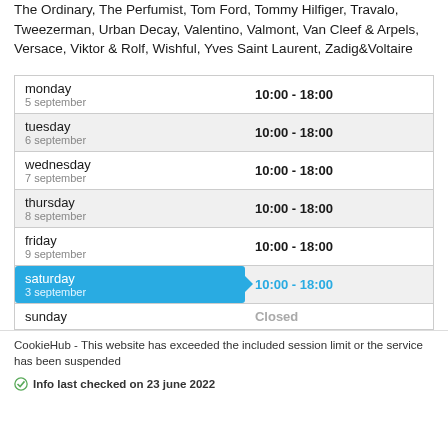The Ordinary, The Perfumist, Tom Ford, Tommy Hilfiger, Travalo, Tweezerman, Urban Decay, Valentino, Valmont, Van Cleef & Arpels, Versace, Viktor & Rolf, Wishful, Yves Saint Laurent, Zadig&Voltaire
| Day | Hours |
| --- | --- |
| monday
5 september | 10:00 - 18:00 |
| tuesday
6 september | 10:00 - 18:00 |
| wednesday
7 september | 10:00 - 18:00 |
| thursday
8 september | 10:00 - 18:00 |
| friday
9 september | 10:00 - 18:00 |
| saturday
3 september | 10:00 - 18:00 |
| sunday | Closed |
CookieHub - This website has exceeded the included session limit or the service has been suspended
Info last checked on 23 june 2022